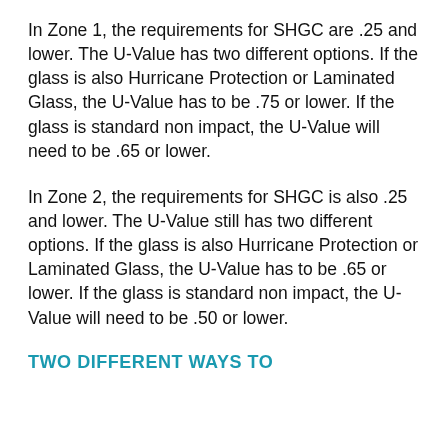In Zone 1, the requirements for SHGC are .25 and lower. The U-Value has two different options. If the glass is also Hurricane Protection or Laminated Glass, the U-Value has to be .75 or lower. If the glass is standard non impact, the U-Value will need to be .65 or lower.
In Zone 2, the requirements for SHGC is also .25 and lower. The U-Value still has two different options. If the glass is also Hurricane Protection or Laminated Glass, the U-Value has to be .65 or lower. If the glass is standard non impact, the U-Value will need to be .50 or lower.
TWO DIFFERENT WAYS TO